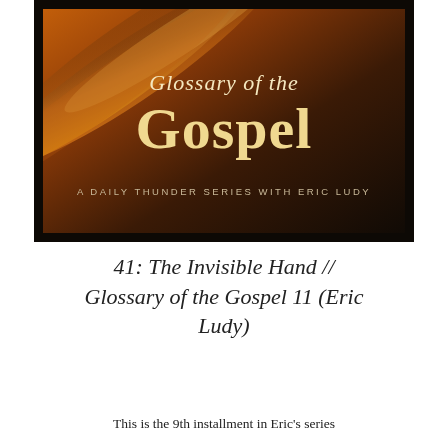[Figure (illustration): Book cover art for 'Glossary of the Gospel' — a Daily Thunder Series with Eric Ludy. Dark background with dramatic brushstroke textures in orange, amber, red, and black. Text reads 'Glossary of the Gospel' in large serif font with subtitle 'A Daily Thunder Series with Eric Ludy'.]
41: The Invisible Hand // Glossary of the Gospel 11 (Eric Ludy)
This is the 9th installment in Eric's series